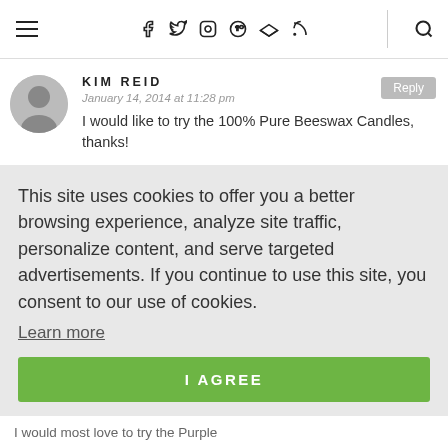≡  f  ✦  ☉  ⊕  G+  )))  🔍
KIM REID
January 14, 2014 at 11:28 pm
I would like to try the 100% Pure Beeswax Candles, thanks!
This site uses cookies to offer you a better browsing experience, analyze site traffic, personalize content, and serve targeted advertisements. If you continue to use this site, you consent to our use of cookies.
Learn more
I AGREE
I would most love to try the Purple